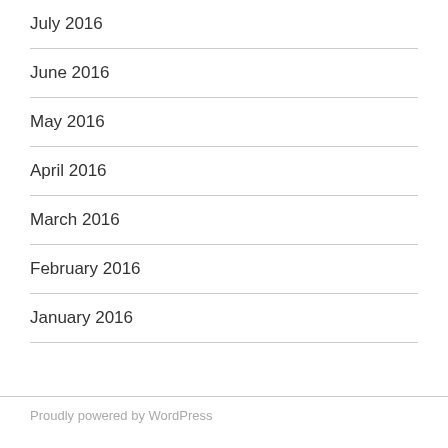July 2016
June 2016
May 2016
April 2016
March 2016
February 2016
January 2016
Proudly powered by WordPress